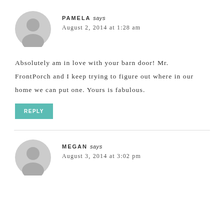PAMELA says
August 2, 2014 at 1:28 am
Absolutely am in love with your barn door! Mr. FrontPorch and I keep trying to figure out where in our home we can put one. Yours is fabulous.
REPLY
MEGAN says
August 3, 2014 at 3:02 pm